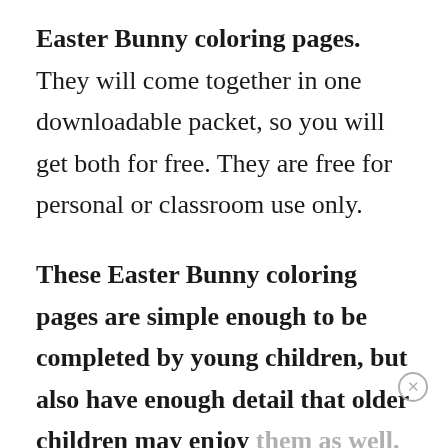Easter Bunny coloring pages. They will come together in one downloadable packet, so you will get both for free. They are free for personal or classroom use only.
These Easter Bunny coloring pages are simple enough to be completed by young children, but also have enough detail that older children may enjoy them as well. Of course, young children may color in larger areas with a single